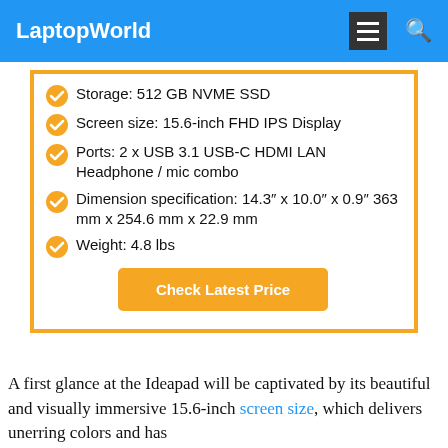LaptopWorld
Storage: 512 GB NVME SSD
Screen size: 15.6-inch FHD IPS Display
Ports: 2 x USB 3.1 USB-C HDMI LAN Headphone / mic combo
Dimension specification: 14.3″ x 10.0″ x 0.9″ 363 mm x 254.6 mm x 22.9 mm
Weight: 4.8 lbs
Check Latest Price
A first glance at the Ideapad will be captivated by its beautiful and visually immersive 15.6-inch screen size, which delivers unerring colors and has